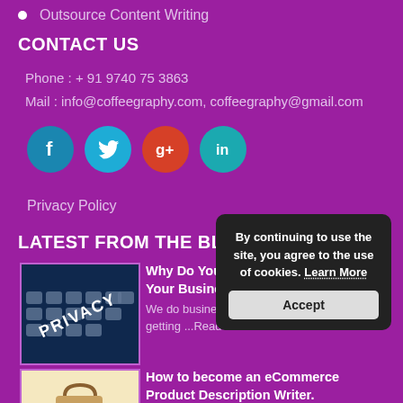Outsource Content Writing
CONTACT US
Phone : + 91 9740 75 3863
Mail : info@coffeegraphy.com, coffeegraphy@gmail.com
[Figure (infographic): Social media icons: Facebook (blue circle), Twitter (light blue circle), Google+ (red circle), LinkedIn (teal circle)]
Privacy Policy
LATEST FROM THE BLOG
[Figure (photo): Keyboard with PRIVACY text overlay]
Why Do You Need A Privacy Policy For Your Business? We do business in a world where everything is getting ...Read More »
[Figure (photo): Shopping bag illustration on light yellow background]
How to become an eCommerce Product Description Writer. The instinctive but mechanical description of a product that ...Read More
By continuing to use the site, you agree to the use of cookies. Learn More
Accept